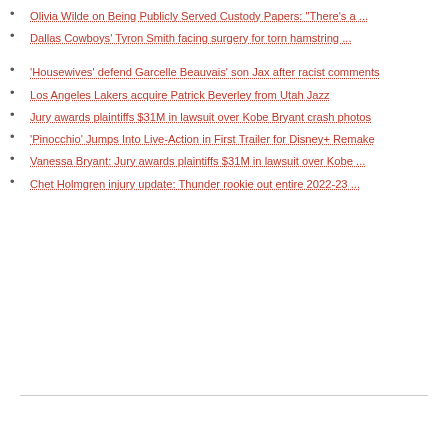Olivia Wilde on Being Publicly Served Custody Papers: "There's a ...
Dallas Cowboys' Tyron Smith facing surgery for torn hamstring ...
'Housewives' defend Garcelle Beauvais' son Jax after racist comments
Los Angeles Lakers acquire Patrick Beverley from Utah Jazz
Jury awards plaintiffs $31M in lawsuit over Kobe Bryant crash photos
'Pinocchio' Jumps Into Live-Action in First Trailer for Disney+ Remake
Vanessa Bryant: Jury awards plaintiffs $31M in lawsuit over Kobe ...
Chet Holmgren injury update: Thunder rookie out entire 2022-23 ...